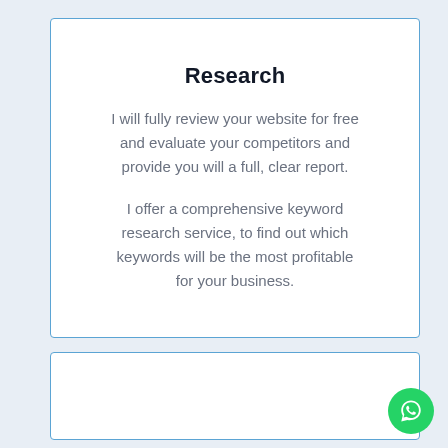Research
I will fully review your website for free and evaluate your competitors and provide you will a full, clear report.
I offer a comprehensive keyword research service, to find out which keywords will be the most profitable for your business.